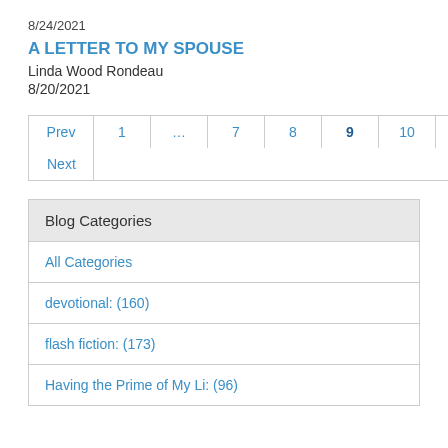8/24/2021
A LETTER TO MY SPOUSE
Linda Wood Rondeau
8/20/2021
| Prev | 1 | … | 7 | 8 | 9 | 10 | 11 | … | 60 |
| Next |  |  |  |  |  |  |  |  |  |
Blog Categories
All Categories
devotional: (160)
flash fiction: (173)
Having the Prime of My Li: (96)